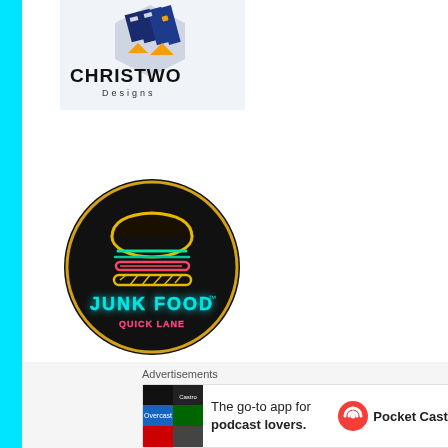[Figure (logo): ChrisTwo Designs logo — geometric diamond/shield icon in navy blue and gold above the text 'CHRISTWO Designs']
[Figure (logo): Junk Food Quick Lane circular neon logo — black circular background with neon burger illustration and neon text 'JUNK FOOD' in cyan and 'Quick Lane' in pink]
[Figure (other): Light pink rectangular placeholder box]
[Figure (other): Gray circular close/dismiss button with X symbol]
Advertisements
[Figure (other): Pocket Casts advertisement banner: colorful app icon tiles on left, text 'The go-to app for podcast lovers.' in center, Pocket Casts logo on right]